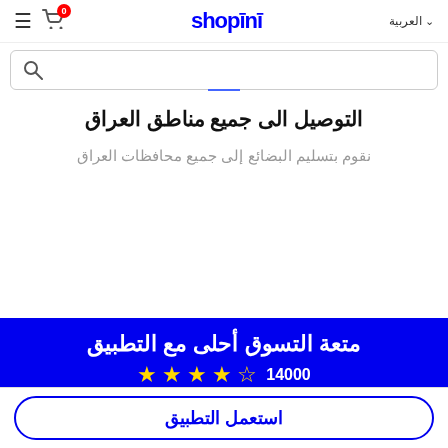العربية ∨  shopini  ≡
[Figure (screenshot): Search bar with magnifying glass icon]
التوصيل الى جميع مناطق العراق
نقوم بتسليم البضائع إلى جميع محافظات العراق
متعة التسوق أحلى مع التطبيق
14000 ★★★★☆
استعمل التطبيق